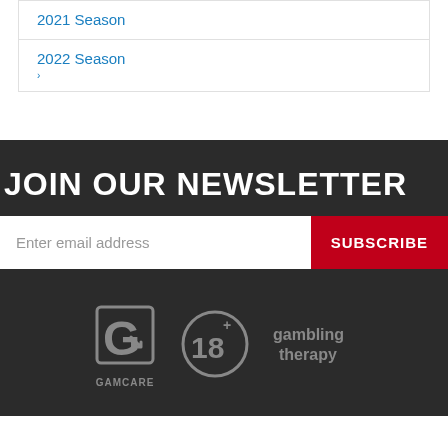2021 Season
2022 Season
JOIN OUR NEWSLETTER
Enter email address
SUBSCRIBE
[Figure (logo): GamCare, 18+ and Gambling Therapy logos]